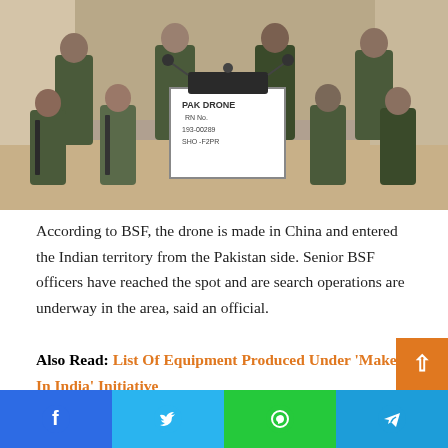[Figure (photo): Group of BSF soldiers in camouflage uniform posing with a captured drone (hexacopter) holding a white board with handwritten text 'PAK DRONE' and other details]
According to BSF, the drone is made in China and entered the Indian territory from the Pakistan side. Senior BSF officers have reached the spot and are search operations are underway in the area, said an official.
Also Read: List Of Equipment Produced Under 'Make In India' Initiative
BSF said that an alert BSF patrolling team of border outpost in Amarkot heard a humming sound at around 11.10 pm. The drone that was a hexacopter was flying low and it was